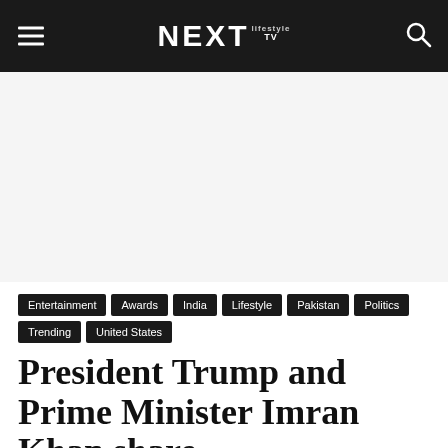NEXT lifestyle TV
[Figure (other): Advertisement/blank area below navigation bar]
Entertainment
Awards
India
Lifestyle
Pakistan
Politics
Trending
United States
President Trump and Prime Minister Imran Khan share